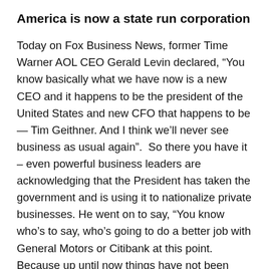America is now a state run corporation
Today on Fox Business News, former Time Warner AOL CEO Gerald Levin declared, “You know basically what we have now is a new CEO and it happens to be the president of the United States and new CFO that happens to be — Tim Geithner. And I think we’ll never see business as usual again”.  So there you have it – even powerful business leaders are acknowledging that the President has taken the government and is using it to nationalize private businesses. He went on to say, “You know who’s to say, who’s going to do a better job with General Motors or Citibank at this point. Because up until now things have not been going well at all. And it’s time I think not only to put some principals back in executive pay but also trying to get CEOs to be — a part of society. You know let’s shop at Costco and maybe shop at the Gap for a while and let’s